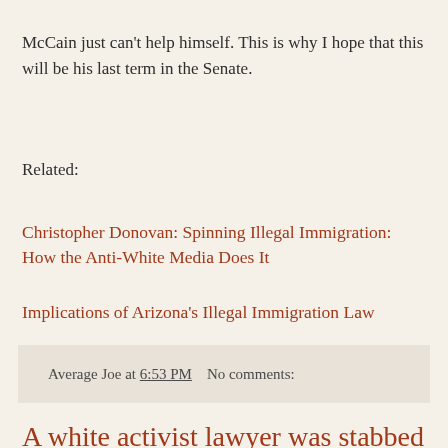McCain just can't help himself. This is why I hope that this will be his last term in the Senate.
Related:
Christopher Donovan: Spinning Illegal Immigration: How the Anti-White Media Does It
Implications of Arizona's Illegal Immigration Law
Average Joe at 6:53 PM    No comments:
A white activist lawyer was stabbed and beaten to death by a black neighbor who had done yard work for him at his home in Pearl, Mississippi